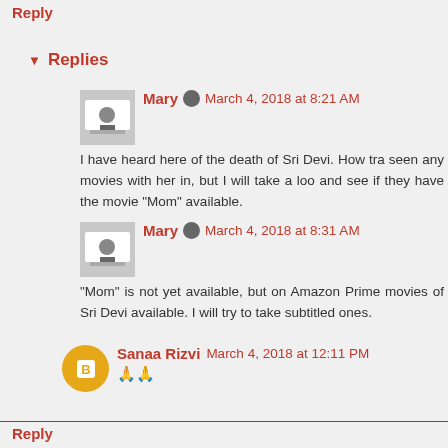Reply
Replies
Mary  March 4, 2018 at 8:21 AM
I have heard here of the death of Sri Devi. How tra seen any movies with her in, but I will take a loo and see if they have the movie "Mom" available.
Mary  March 4, 2018 at 8:31 AM
"Mom" is not yet available, but on Amazon Prime movies of Sri Devi available. I will try to take subtitled ones.
Sanaa Rizvi  March 4, 2018 at 12:11 PM
🙏🙏
Reply